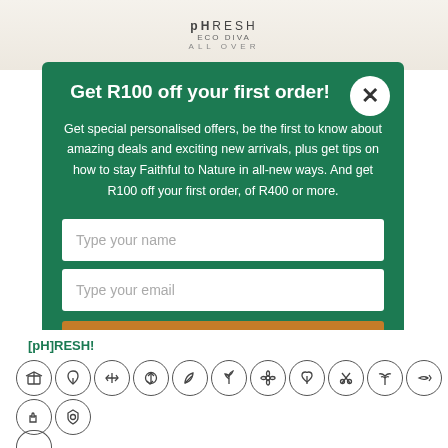[Figure (photo): Product bottle top partially visible behind modal overlay, with brand text 'pHRESH ECO DIVA' and 'ALL OVER' visible]
Get R100 off your first order!
Get special personalised offers, be the first to know about amazing deals and exciting new arrivals, plus get tips on how to stay Faithful to Nature in all-new ways. And get R100 off your first order, of R400 or more.
Type your name
Type your email
Subscribe to Newsletter
[pH]RESH!
[Figure (infographic): Row of circular badge icons representing product certifications/features: box/packaging, leaf/plant, recycling arrows, recycling symbol, leaf, fern/plant, flower/seed, heart/plant, scissors/cutting, palm tree, fish, hand/earth, shield/circle]